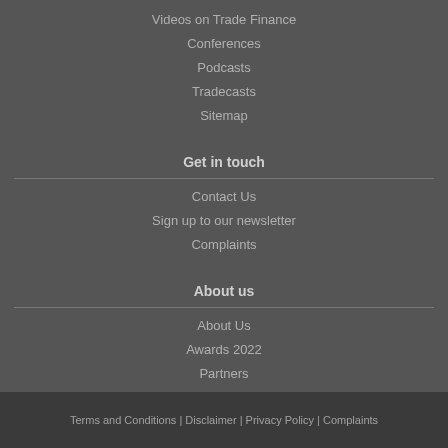Videos on Trade Finance
Conferences
Podcasts
Tradecasts
Sitemap
Get in touch
Contact Us
Sign up to our newsletter
Complaints
About us
About Us
Awards 2022
Partners
Terms and Conditions | Disclaimer | Privacy Policy | Complaints